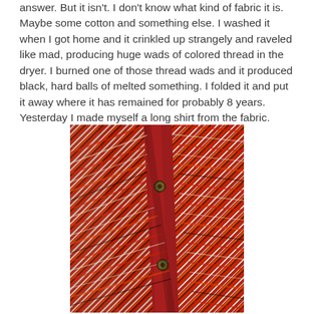answer. But it isn't. I don't know what kind of fabric it is. Maybe some cotton and something else. I washed it when I got home and it crinkled up strangely and raveled like mad, producing huge wads of colored thread in the dryer. I burned one of those thread wads and it produced black, hard balls of melted something. I folded it and put it away where it has remained for probably 8 years. Yesterday I made myself a long shirt from the fabric.
[Figure (photo): Close-up photo of a red striped fabric shirt with diagonal herringbone pattern in red, white, orange, and dark brown/black stripes, showing the button placket with two visible metal buttons.]